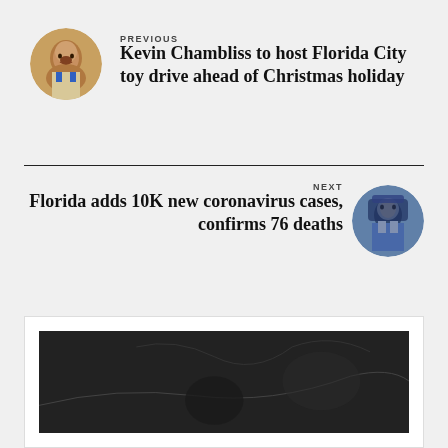PREVIOUS
Kevin Chambliss to host Florida City toy drive ahead of Christmas holiday
NEXT
Florida adds 10K new coronavirus cases, confirms 76 deaths
[Figure (photo): Dark image at the bottom of the page, partially visible, appears to show outdoor scene at night or low light]
[Figure (photo): Circular avatar of Kevin Chambliss, a man in a suit and tie]
[Figure (photo): Circular avatar of a person in blue attire, possibly medical setting]